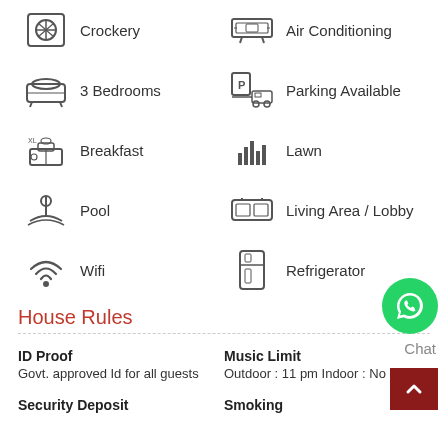Crockery
Air Conditioning
3 Bedrooms
Parking Available
Breakfast
Lawn
Pool
Living Area / Lobby
Wifi
Refrigerator
House Rules
ID Proof
Govt. approved Id for all guests
Music Limit
Outdoor : 11 pm Indoor : No Limit
Security Deposit
Smoking